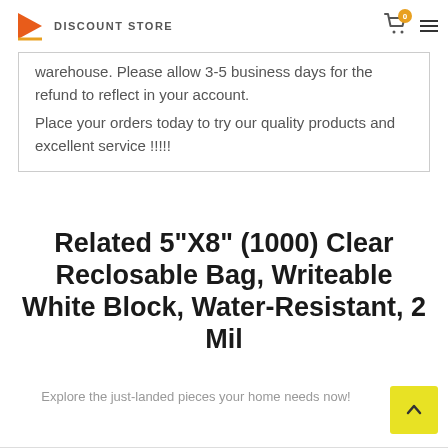DISCOUNT STORE
warehouse. Please allow 3-5 business days for the refund to reflect in your account. Place your orders today to try our quality products and excellent service !!!!!
Related 5"X8" (1000) Clear Reclosable Bag, Writeable White Block, Water-Resistant, 2 Mil
Explore the just-landed pieces your home needs now!